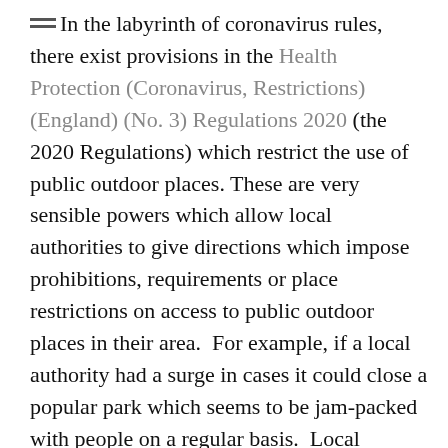In the labyrinth of coronavirus rules, there exist provisions in the Health Protection (Coronavirus, Restrictions) (England) (No. 3) Regulations 2020 (the 2020 Regulations) which restrict the use of public outdoor places. These are very sensible powers which allow local authorities to give directions which impose prohibitions, requirements or place restrictions on access to public outdoor places in their area.  For example, if a local authority had a surge in cases it could close a popular park which seems to be jam-packed with people on a regular basis.  Local authorities would clearly not relish doing this, but one can imagine circumstances where the public health emergency would justify it.
This rule is set out in regulation 6 of the 2020 Regulations under the clear heading of "directions relating to public outdoor places"